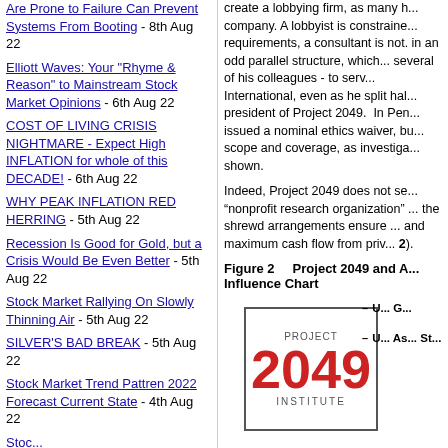Are Prone to Failure Can Prevent Systems From Booting - 8th Aug 22
Elliott Waves: Your "Rhyme & Reason" to Mainstream Stock Market Opinions - 6th Aug 22
COST OF LIVING CRISIS NIGHTMARE - Expect High INFLATION for whole of this DECADE! - 6th Aug 22
WHY PEAK INFLATION RED HERRING - 5th Aug 22
Recession Is Good for Gold, but a Crisis Would Be Even Better - 5th Aug 22
Stock Market Rallying On Slowly Thinning Air - 5th Aug 22
SILVER'S BAD BREAK - 5th Aug 22
Stock Market Trend Pattren 2022 Forecast Current State - 4th Aug 22
create a lobbying firm, as many h... company. A lobbyist is constrained... requirements, a consultant is not. in an odd parallel structure, which... several of his colleagues - to serve... International, even as he split halt... president of Project 2049. In Pen... issued a nominal ethics waiver, but... scope and coverage, as investiga... shown.
Indeed, Project 2049 does not see... “nonprofit research organization” ... the shrewd arrangements ensure ... and maximum cash flow from priv... 2).
Figure 2    Project 2049 and A... Influence Chart
[Figure (organizational-chart): Project 2049 Institute logo in a bordered box with red '2049' numerals, alongside bullet points referencing U.S. Government and other entities]